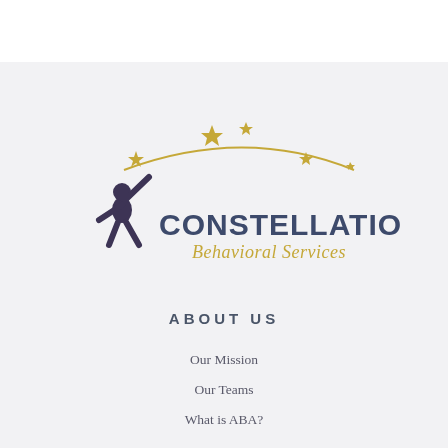[Figure (logo): Constellations Behavioral Services logo: silhouette of a child reaching upward with golden stars and a shooting star arc above, company name 'CONSTELLATIONS' in dark blue-gray serif text and 'Behavioral Services' in gold italic text below]
ABOUT US
Our Mission
Our Teams
What is ABA?